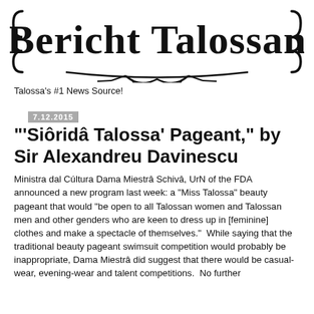[Figure (logo): Bericht Talossan newspaper logo in blackletter/gothic font with decorative curved lines and ornamental border]
Talossa's #1 News Source!
7.12.2015
'Siôridâ Talossa' Pageant," by Sir Alexandreu Davinescu
Ministra dal Cúltura Dama Miestrâ Schivâ, UrN of the FDA announced a new program last week: a "Miss Talossa" beauty pageant that would "be open to all Talossan women and Talossan men and other genders who are keen to dress up in [feminine] clothes and make a spectacle of themselves."  While saying that the traditional beauty pageant swimsuit competition would probably be inappropriate, Dama Miestrâ did suggest that there would be casual-wear, evening-wear and talent competitions.  No further